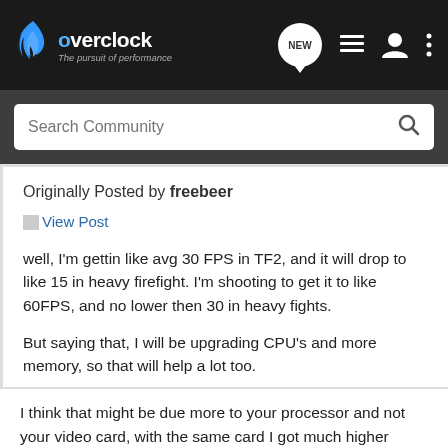overclock.net — The pursuit of performance — Search Community
Originally Posted by freebeer
View Post
well, I'm gettin like avg 30 FPS in TF2, and it will drop to like 15 in heavy firefight. I'm shooting to get it to like 60FPS, and no lower then 30 in heavy fights.

But saying that, I will be upgrading CPU's and more memory, so that will help a lot too.
I think that might be due more to your processor and not your video card, with the same card I got much higher frames than